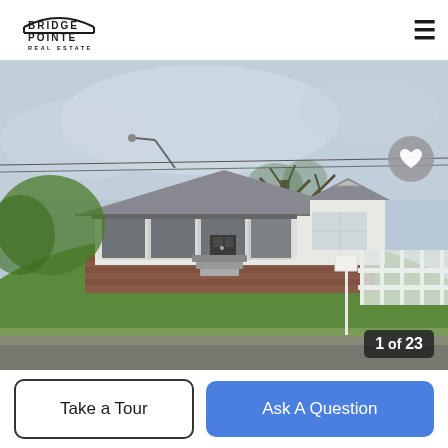Bridge Pointe Real Estate — hamburger menu
[Figure (photo): Exterior photo of a small white bungalow-style house with a screened front porch, brick foundation, green lawn, large bare tree in background, overcast sky. White fence on right side. Sidewalk in foreground.]
1 of 23
Take a Tour
Ask A Question